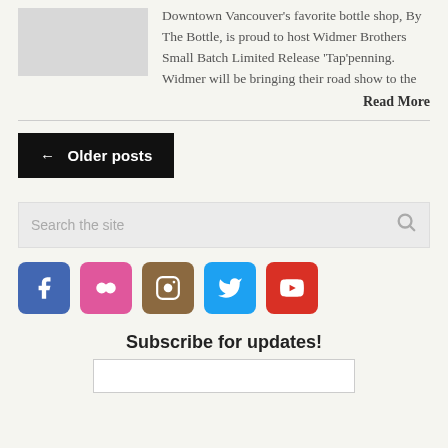[Figure (photo): Gray placeholder thumbnail image for article]
Downtown Vancouver's favorite bottle shop, By The Bottle, is proud to host Widmer Brothers Small Batch Limited Release 'Tap'penning. Widmer will be bringing their road show to the
Read More
← Older posts
Search the site
[Figure (infographic): Social media icons: Facebook (blue), Flickr (pink), Instagram (brown), Twitter (light blue), YouTube (red)]
Subscribe for updates!